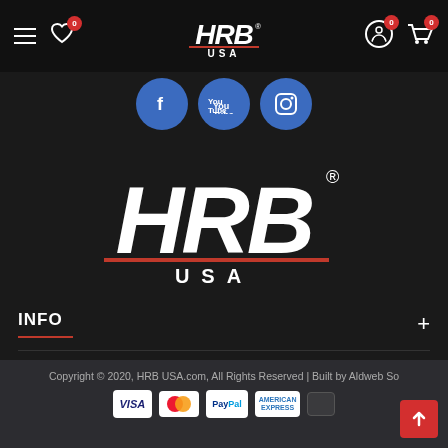[Figure (screenshot): Website navigation bar with hamburger menu, heart/wishlist icon with badge 0, HRB USA logo in center, account and cart icons with badges 0]
[Figure (logo): Three social media icons: Facebook, YouTube, Instagram in blue circles]
[Figure (logo): HRB USA large logo in white italic bold text with red underline and registered trademark symbol]
INFO
CUSTOMER SERVICE
Copyright © 2020, HRB USA.com, All Rights Reserved | Built by Aldweb So
[Figure (other): Payment method icons: VISA, Mastercard, PayPal, American Express]